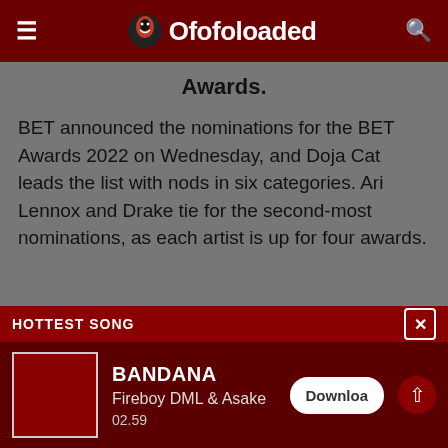Ofofoloaded
Awards.
BET announced the nominations for the BET Awards 2022 on Wednesday, and Doja Cat leads the list with nods in six categories. Ari Lennox and Drake tie for the second-most nominations, as each artist is up for four awards.
HOTTEST SONG
BANDANA
Fireboy DML & Asake
02.59